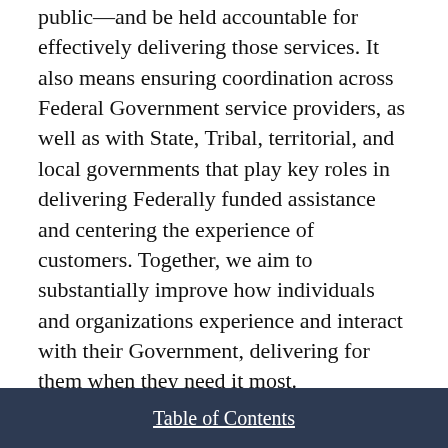public—and be held accountable for effectively delivering those services. It also means ensuring coordination across Federal Government service providers, as well as with State, Tribal, territorial, and local governments that play key roles in delivering Federally funded assistance and centering the experience of customers. Together, we aim to substantially improve how individuals and organizations experience and interact with their Government, delivering for them when they need it most.
Our Focus
Strategy 1: Improve the service design, digital
Table of Contents